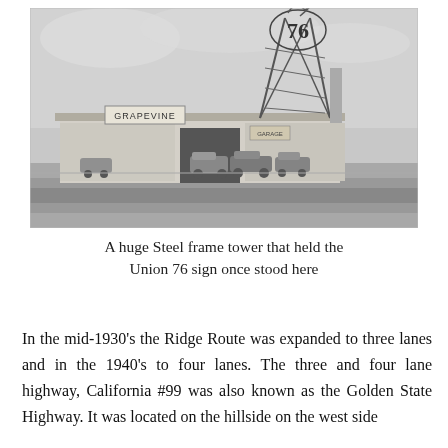[Figure (photo): Black and white historical photograph of a roadside gas station with a large steel frame tower holding a Union 76 sign on top. A 'Grapevine' sign is visible on the building. Several vintage 1930s-era cars are parked in front. The building is a low white structure.]
A huge Steel frame tower that held the Union 76 sign once stood here
In the mid-1930's the Ridge Route was expanded to three lanes and in the 1940's to four lanes. The three and four lane highway, California #99 was also known as the Golden State Highway. It was located on the hillside on the west side